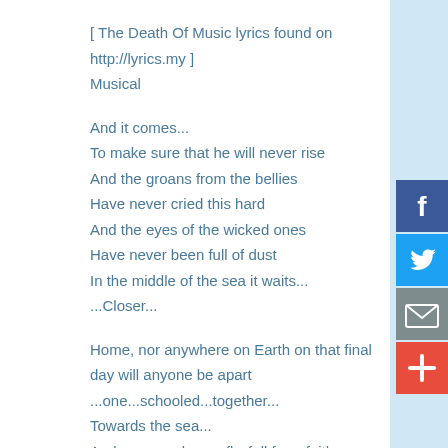[ The Death Of Music lyrics found on http://lyrics.my ]
Musical
And it comes...
To make sure that he will never rise
And the groans from the bellies
Have never cried this hard
And the eyes of the wicked ones
Have never been full of dust
In the middle of the sea it waits...
...Closer...
Home, nor anywhere on Earth on that final day will anyone be apart
...one...schooled...together...
Towards the sea...
And we may drown, fly, fall from faith
...but the pain won't be realized